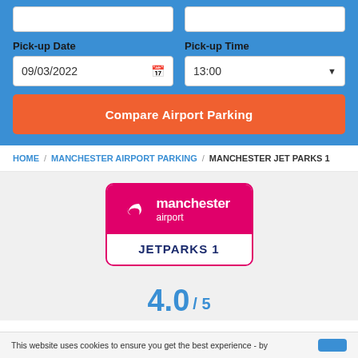Pick-up Date
09/03/2022
Pick-up Time
13:00
Compare Airport Parking
HOME / MANCHESTER AIRPORT PARKING / MANCHESTER JET PARKS 1
[Figure (logo): Manchester Airport logo with pink background and JETPARKS 1 label below]
4.0 / 5
This website uses cookies to ensure you get the best experience - by